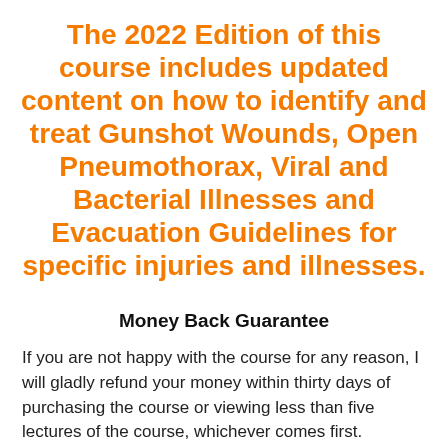The 2022 Edition of this course includes updated content on how to identify and treat Gunshot Wounds, Open Pneumothorax, Viral and Bacterial Illnesses and Evacuation Guidelines for specific injuries and illnesses.
Money Back Guarantee
If you are not happy with the course for any reason, I will gladly refund your money within thirty days of purchasing the course or viewing less than five lectures of the course, whichever comes first.